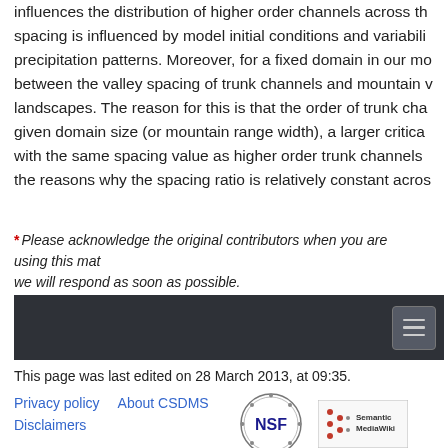influences the distribution of higher order channels across the spacing is influenced by model initial conditions and variability precipitation patterns. Moreover, for a fixed domain in our model between the valley spacing of trunk channels and mountain landscapes. The reason for this is that the order of trunk channels given domain size (or mountain range width), a larger critical with the same spacing value as higher order trunk channels the reasons why the spacing ratio is relatively constant across
* Please acknowledge the original contributors when you are using this material. we will respond as soon as possible.
[Figure (other): Dark navigation bar with hamburger menu button on the right]
This page was last edited on 28 March 2013, at 09:35.
Privacy policy   About CSDMS   Disclaimers
[Figure (logo): NSF logo - circular seal with NSF letters]
[Figure (logo): Semantic MediaWiki logo]